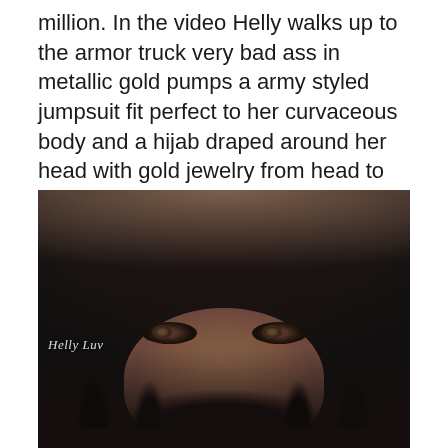million. In the video Helly walks up to the armor truck very bad ass in metallic gold pumps a army styled jumpsuit fit perfect to her curvaceous body and a hijab draped around her head with gold jewelry from head to toe. She then holds a sign up in front of it reading “STOP THE VIOLENCE”.
[Figure (photo): Close-up portrait of a woman wearing a black hijab and niqab with dramatic eye makeup, long black nails, and rings visible. A watermark reads 'Helly Luv'. Background is blurred urban scene.]